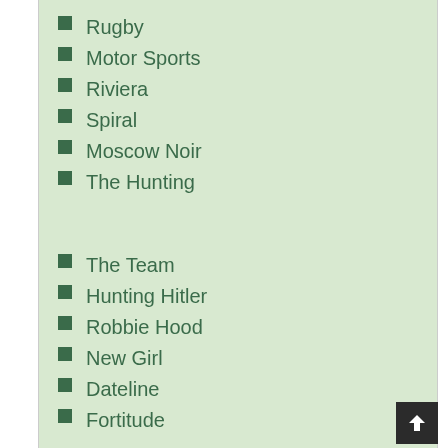Rugby
Motor Sports
Riviera
Spiral
Moscow Noir
The Hunting
The Team
Hunting Hitler
Robbie Hood
New Girl
Dateline
Fortitude
The X-Files
Modus
Grey Zone
Update